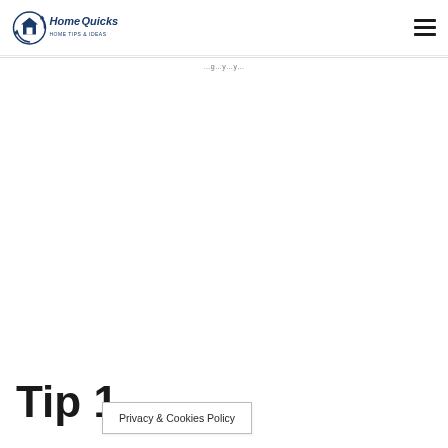HomeQuicks
Privacy & Cookies Policy
Tip 1
Privacy & Cookies Policy